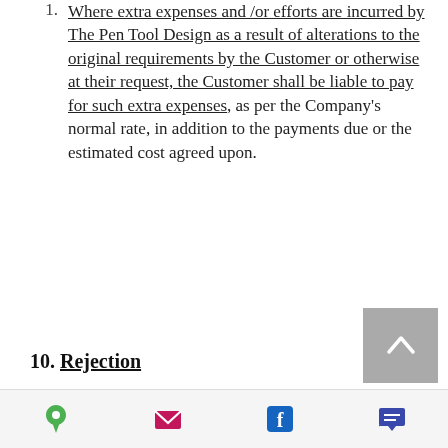1. Where extra expenses and /or efforts are incurred by The Pen Tool Design as a result of alterations to the original requirements by the Customer or otherwise at their request, the Customer shall be liable to pay for such extra expenses, as per the Company's normal rate, in addition to the payments due or the estimated cost agreed upon.
10. Rejection
1. Unless a rejection fee...